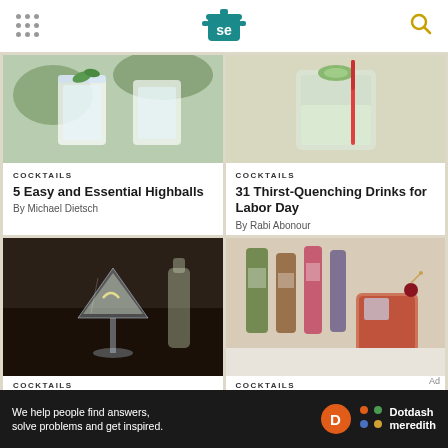Serious Eats
[Figure (photo): Frosty white drink with mint garnish and ice]
COCKTAILS
5 Easy and Essential Highballs
By Michael Dietsch
[Figure (photo): Drink with cucumber garnish and red straw]
COCKTAILS
31 Thirst-Quenching Drinks for Labor Day
By Rabi Abonour
[Figure (photo): Martini glass with lemon twist on dark table]
COCKTAILS
[Figure (photo): Red cocktail in rocks glass with cherry, liquor bottles in background]
COCKTAILS
We help people find answers, solve problems and get inspired. Dotdash meredith